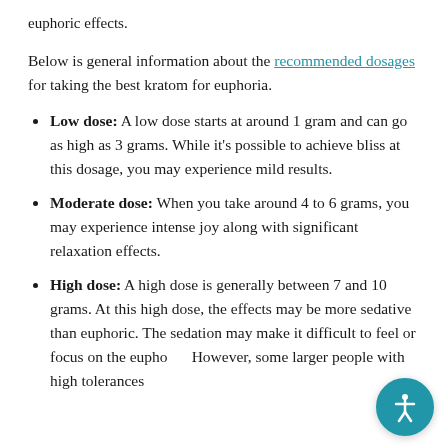euphoric effects.
Below is general information about the recommended dosages for taking the best kratom for euphoria.
Low dose: A low dose starts at around 1 gram and can go as high as 3 grams. While it's possible to achieve bliss at this dosage, you may experience mild results.
Moderate dose: When you take around 4 to 6 grams, you may experience intense joy along with significant relaxation effects.
High dose: A high dose is generally between 7 and 10 grams. At this high dose, the effects may be more sedative than euphoric. The sedation may make it difficult to feel or focus on the euphoria. However, some larger people with high tolerances